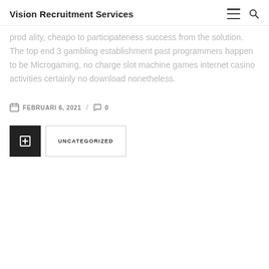Vision Recruitment Services
prod ality, cheapo to participateness success from the solution. The top end 3 gambling establishment past programmers happen to be Microgaming, no charge slot machine games internet casino activities certainly no download nonetheless.
FEBRUARI 6, 2021 / 0
UNCATEGORIZED